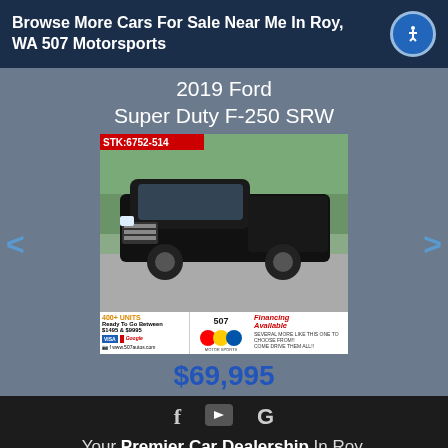Browse More Cars For Sale Near Me In Roy, WA 507 Motorsports
2019 Ford Super Duty F-250 SRW
[Figure (photo): Photo of a black 2019 Ford Super Duty F-250 SRW truck with STK:6752-514 label, shown on a lot with 507 Motorsports dealer banner at bottom showing financing available and www.507autos.com]
$69,995
Your Premier Car Dealership In Roy,
Text Us